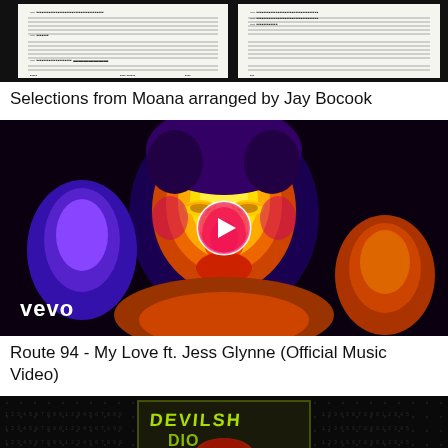[Figure (screenshot): Sheet music thumbnail showing musical notation on white background with two columns]
Selections from Moana arranged by Jay Bocook
[Figure (photo): Vevo music video thumbnail showing thermal/infrared style image of faces with play button overlay and vevo logo]
Route 94 - My Love ft. Jess Glynne (Official Music Video)
[Figure (screenshot): Dark background with a band logo or album art showing 'Devilish' text with skull graphic]